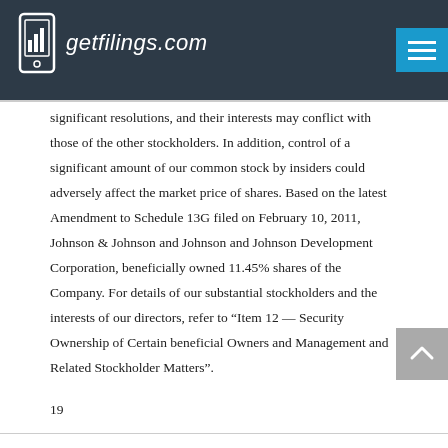getfilings.com
significant resolutions, and their interests may conflict with those of the other stockholders. In addition, control of a significant amount of our common stock by insiders could adversely affect the market price of shares. Based on the latest Amendment to Schedule 13G filed on February 10, 2011, Johnson & Johnson and Johnson and Johnson Development Corporation, beneficially owned 11.45% shares of the Company. For details of our substantial stockholders and the interests of our directors, refer to “Item 12 — Security Ownership of Certain beneficial Owners and Management and Related Stockholder Matters”.
19